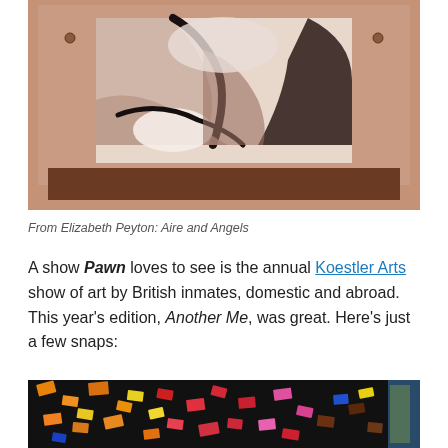[Figure (photo): Artwork photograph showing a close-up neck and shoulder painting mounted on a brownish-pink wall, from the exhibition Elizabeth Peyton: Aire and Angels]
From Elizabeth Peyton: Aire and Angels
A show Pawn loves to see is the annual Koestler Arts show of art by British inmates, domestic and abroad. This year's edition, Another Me, was great. Here's just a few snaps:
[Figure (photo): Photograph of a colourful mosaic-style painting with scattered rectangular shapes in red, orange, yellow, pink, and blue on a dark background, from the Koestler Arts exhibition Another Me]